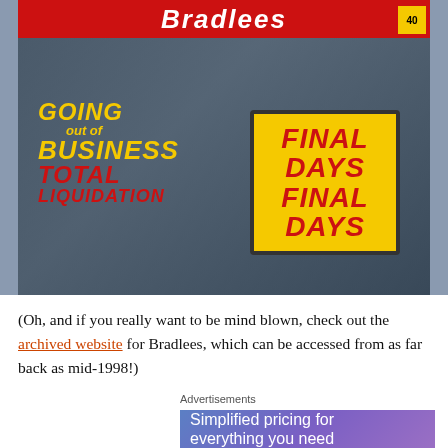[Figure (photo): Photo of a smiling family (man, woman, baby) in a Bradlees store during going-out-of-business liquidation sale. Man wears a shirt reading 'Going out of Business Total Liquidation'; woman holds a sign reading 'Final Days Final Days'. Bradlees logo visible at top.]
(Oh, and if you really want to be mind blown, check out the archived website for Bradlees, which can be accessed from as far back as mid-1998!)
Advertisements
[Figure (photo): Advertisement banner with gradient purple/blue background reading 'Simplified pricing for everything you need']